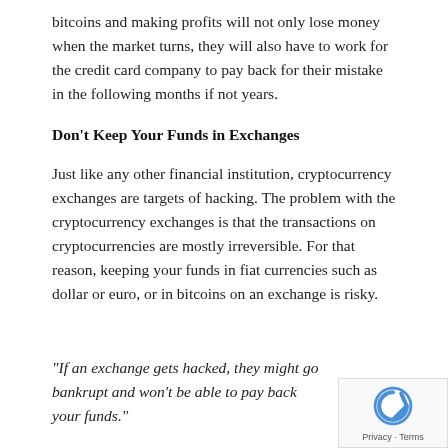bitcoins and making profits will not only lose money when the market turns, they will also have to work for the credit card company to pay back for their mistake in the following months if not years.
Don't Keep Your Funds in Exchanges
Just like any other financial institution, cryptocurrency exchanges are targets of hacking. The problem with the cryptocurrency exchanges is that the transactions on cryptocurrencies are mostly irreversible. For that reason, keeping your funds in fiat currencies such as dollar or euro, or in bitcoins on an exchange is risky.
“If an exchange gets hacked, they might go bankrupt and won’t be able to pay back your funds.”